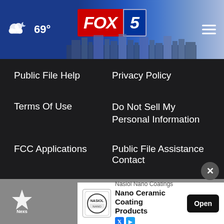[Figure (screenshot): FOX 5 news website header with weather showing 69°, FOX 5 logo, city skyline background, and hamburger menu]
Public File Help
Privacy Policy
Terms Of Use
Do Not Sell My Personal Information
FCC Applications
Public File Assistance Contact
The Hill
NewsNation
BestReviews
Content Licensing
Nexstar Digital
[Figure (screenshot): Nexstar logo in footer area]
[Figure (screenshot): Nasiol Nano Coatings advertisement banner with logo, 'Nano Ceramic Coating Products' text and Open button]